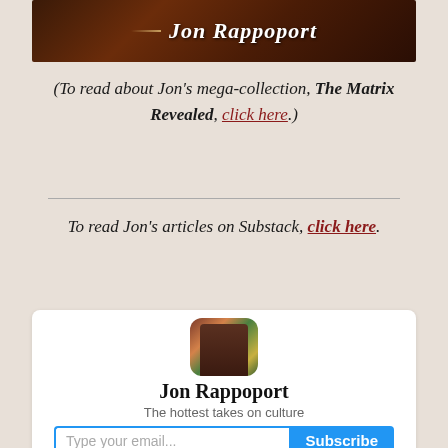[Figure (photo): Banner image with dark brown background and 'Jon Rappoport' text in white bold italic font with a decorative line]
(To read about Jon’s mega-collection, The Matrix Revealed, click here.)
[Figure (other): Horizontal divider line]
To read Jon’s articles on Substack, click here.
[Figure (other): White card widget showing Jon Rappoport's Substack profile with avatar, name 'Jon Rappoport', tagline 'The hottest takes on culture', and an email subscription input with Subscribe button]